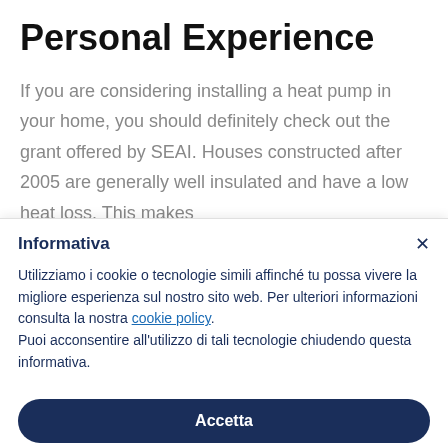Personal Experience
If you are considering installing a heat pump in your home, you should definitely check out the grant offered by SEAI. Houses constructed after 2005 are generally well insulated and have a low heat loss. This makes
Informativa
Utilizziamo i cookie o tecnologie simili affinché tu possa vivere la migliore esperienza sul nostro sito web. Per ulteriori informazioni consulta la nostra cookie policy.
Puoi acconsentire all'utilizzo di tali tecnologie chiudendo questa informativa.
Accetta
Scopri di più e personalizza